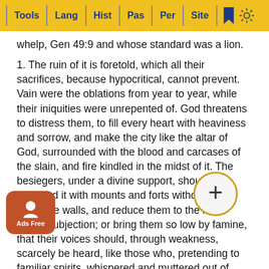Tools | Lang | Hist | Pas | Per | Site
whelp, Gen 49:9 and whose standard was a lion.
1. The ruin of it is foretold, which all their sacrifices, because hypocritical, cannot prevent. Vain were the oblations from year to year, while their iniquities were unrepented of. God threatens to distress them, to fill every heart with heaviness and sorrow, and make the city like the altar of God, surrounded with the blood and carcases of the slain, and fire kindled in the midst of it. The besiegers, under a divine support, should surround it with mounts and forts without, beat down the walls, and reduce them to the most abject subjection; or bring them so low by famine, that their voices should, through weakness, scarcely be heard, like those who, pretending to familiar spirits, whispered and muttered out of dust. With marks of divine displeasure, God would foes with thunder, earthquake, and tempest, and give them up at last into their hands. who should consume their city a le the he an